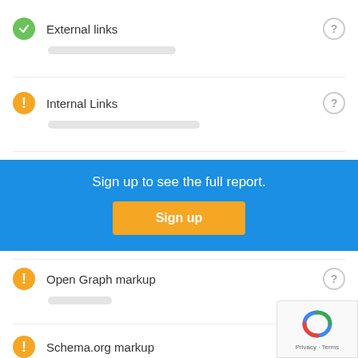External links
[blurred subtext for External links]
Internal Links
[blurred subtext for Internal Links]
Sign up to see the full report.
Sign up
Open Graph markup
[blurred subtext for Open Graph markup]
Schema.org markup